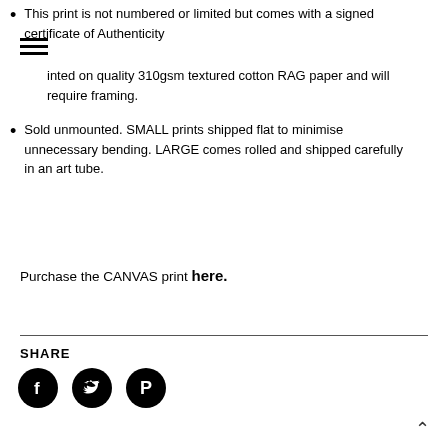This print is not numbered or limited but comes with a signed certificate of Authenticity
Printed on quality 310gsm textured cotton RAG paper and will require framing.
Sold unmounted. SMALL prints shipped flat to minimise unnecessary bending. LARGE comes rolled and shipped carefully in an art tube.
Purchase the CANVAS print here.
SHARE
[Figure (other): Social media share icons: Facebook, Twitter, Pinterest (circular black icons)]